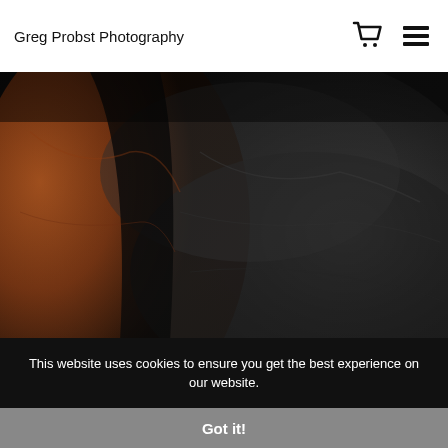Greg Probst Photography
[Figure (photo): Close-up photograph of rugged coastal rocks at Peggys Cove, Nova Scotia — large dark grey boulders with an orange-tinted rock on the left, dramatic texture and shadow.]
Peggys Cove lightouse on the rugged coast of Nova Scotia, Canada by Greg Probst from $24.32
This website uses cookies to ensure you get the best experience on our website.
Got it!